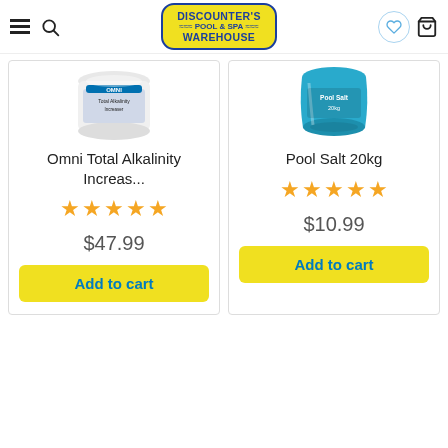[Figure (logo): Discounter's Pool & Spa Warehouse logo - yellow rounded rectangle with blue text]
[Figure (photo): Omni Total Alkalinity Increaser product container - white tub]
Omni Total Alkalinity Increas...
[Figure (other): 5 star rating icons in orange]
$47.99
Add to cart
[Figure (photo): Pool Salt 20kg blue bag product image]
Pool Salt 20kg
[Figure (other): 5 star rating icons in orange]
$10.99
Add to cart